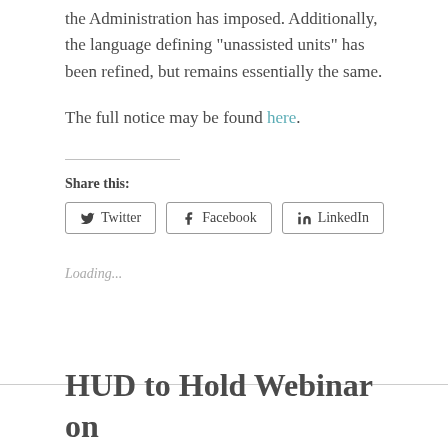the Administration has imposed. Additionally, the language defining “unassisted units” has been refined, but remains essentially the same.
The full notice may be found here.
Share this:
Twitter  Facebook  LinkedIn
Loading...
HUD to Hold Webinar on